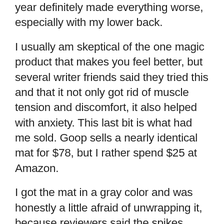year definitely made everything worse, especially with my lower back.
I usually am skeptical of the one magic product that makes you feel better, but several writer friends said they tried this and that it not only got rid of muscle tension and discomfort, it also helped with anxiety. This last bit is what had me sold. Goop sells a nearly identical mat for $78, but I rather spend $25 at Amazon.
I got the mat in a gray color and was honestly a little afraid of unwrapping it, because reviewers said the spikes were sharper than they looked. They're right. I poked myself accidentally several times prying the mat and pillow out of the wrapping. The mat comes with a helpful booklet with poses that you could do on the mat if you want to work out tensions in certain